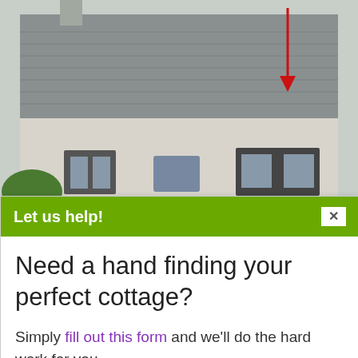[Figure (photo): Exterior photo of a stone/rendered cottage with grey slate roof, dark-shuttered windows, and a red arrow annotation pointing downward at the roof area.]
Let us help!
Need a hand finding your perfect cottage?
Simply fill out this form and we'll do the hard work for you.
[Figure (infographic): Icons for 2 Bedrooms, Sleeps 6, 1 Bathroom with corresponding SVG icons in blue-grey colour]
More features...
7 nights: £315 - £1,914 View prices